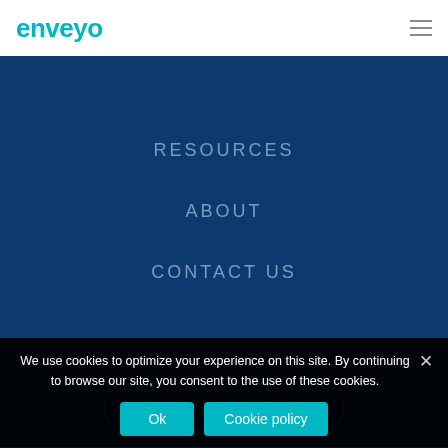[Figure (logo): enveyo logo in teal/cyan color in top left of white header bar]
RESOURCES
ABOUT
CONTACT US
[Figure (infographic): Four circular social media icons: Twitter, Facebook, LinkedIn, YouTube on dark blue background]
We use cookies to optimize your experience on this site. By continuing to browse our site, you consent to the use of these cookies.